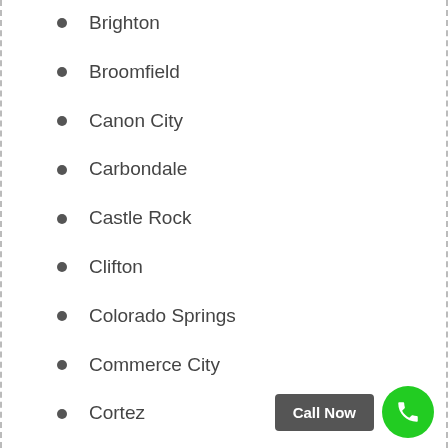Brighton
Broomfield
Canon City
Carbondale
Castle Rock
Clifton
Colorado Springs
Commerce City
Cortez
Craig